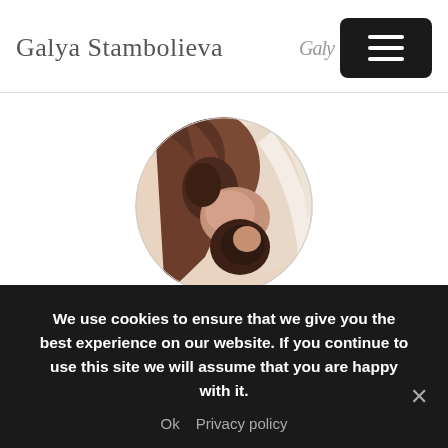Galya Stambolieva
[Figure (illustration): Circular cropped painting showing a mother and child breastfeeding in warm brown and cream tones]
Breastfeeding Art
If you are nurturing your child but your breastfeeding journey is coming to an end and you would like something as a reminder
We use cookies to ensure that we give you the best experience on our website. If you continue to use this site we will assume that you are happy with it.
Ok  Privacy policy